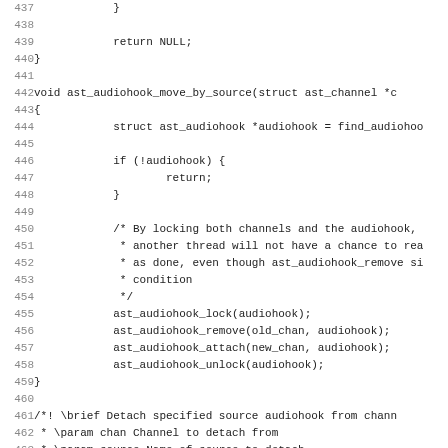Source code listing lines 437-468, C programming language, showing ast_audiohook functions: ast_audiohook_move_by_source and ast_audiohook_detach_source